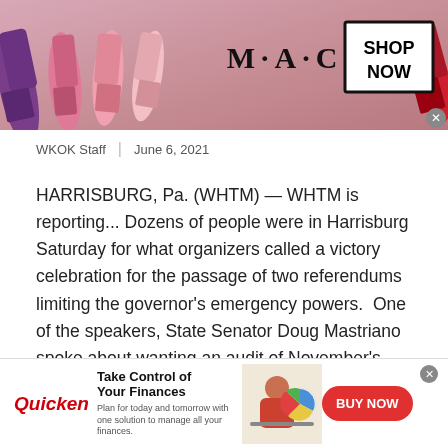[Figure (photo): MAC Cosmetics advertisement banner showing colorful lipsticks on a pink background with MAC logo and SHOP NOW button]
WKOK Staff  |  June 6, 2021
HARRISBURG, Pa. (WHTM) — WHTM is reporting... Dozens of people were in Harrisburg Saturday for what organizers called a victory celebration for the passage of two referendums limiting the governor's emergency powers.  One of the speakers, State Senator Doug Mastriano spoke about wanting an audit of November's election too.

Mastriano recently returned from a trip to Arizona where Republican lawmakers organized an audit of their
[Figure (photo): Quicken advertisement showing a woman at a computer with text Take Control of Your Finances and BUY NOW button]